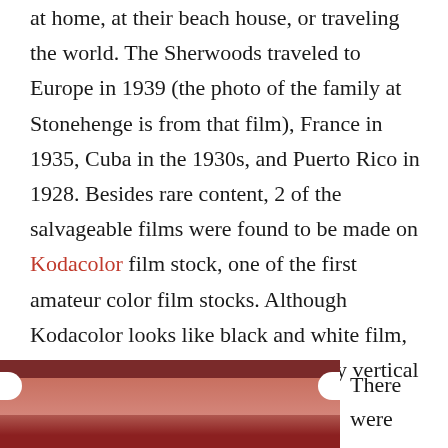at home, at their beach house, or traveling the world. The Sherwoods traveled to Europe in 1939 (the photo of the family at Stonehenge is from that film), France in 1935, Cuba in the 1930s, and Puerto Rico in 1928. Besides rare content, 2 of the salvageable films were found to be made on Kodacolor film stock, one of the first amateur color film stocks. Although Kodacolor looks like black and white film, upon closer inspection it has bumpy vertical lines that makes up the image.
[Figure (photo): A close-up photo of what appears to be a reel of Kodacolor film, showing the pink/reddish film strip with notches on the edges.]
There were